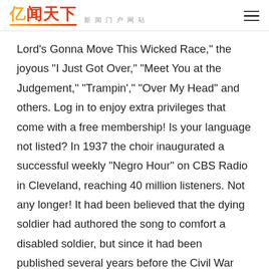亿闻天下 新闻门户网站
Lord's Gonna Move This Wicked Race," the joyous "I Just Got Over," "Meet You at the Judgement," "Trampin'," "Over My Head" and others. Log in to enjoy extra privileges that come with a free membership! Is your language not listed? In 1937 the choir inaugurated a successful weekly "Negro Hour" on CBS Radio in Cleveland, reaching 40 million listeners. Not any longer! It had been believed that the dying soldier had authored the song to comfort a disabled soldier, but since it had been published several years before the Civil War had started (and before Libby Prison existed), this was not the case. The WINGS OVER JORDAN CHOIR (WOJC), a prominent African American choir during the late 1930s and early 1940s, made broadcast history with the first independently produced